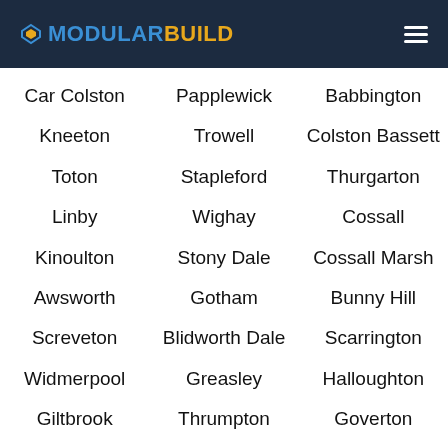MODULARBUILD
Car Colston
Papplewick
Babbington
Kneeton
Trowell
Colston Bassett
Toton
Stapleford
Thurgarton
Linby
Wighay
Cossall
Kinoulton
Stony Dale
Cossall Marsh
Awsworth
Gotham
Bunny Hill
Screveton
Blidworth Dale
Scarrington
Widmerpool
Greasley
Halloughton
Giltbrook
Thrumpton
Goverton